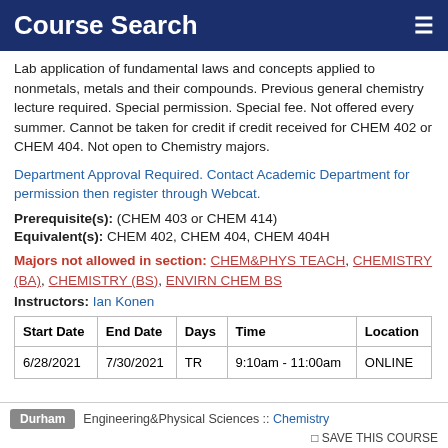Course Search
Lab application of fundamental laws and concepts applied to nonmetals, metals and their compounds. Previous general chemistry lecture required. Special permission. Special fee. Not offered every summer. Cannot be taken for credit if credit received for CHEM 402 or CHEM 404. Not open to Chemistry majors.
Department Approval Required. Contact Academic Department for permission then register through Webcat.
Prerequisite(s): (CHEM 403 or CHEM 414)
Equivalent(s): CHEM 402, CHEM 404, CHEM 404H
Majors not allowed in section: CHEM&PHYS TEACH, CHEMISTRY (BA), CHEMISTRY (BS), ENVIRN CHEM BS
Instructors: Ian Konen
| Start Date | End Date | Days | Time | Location |
| --- | --- | --- | --- | --- |
| 6/28/2021 | 7/30/2021 | TR | 9:10am - 11:00am | ONLINE |
Durham  Engineering&Physical Sciences :: Chemistry  SAVE THIS COURSE